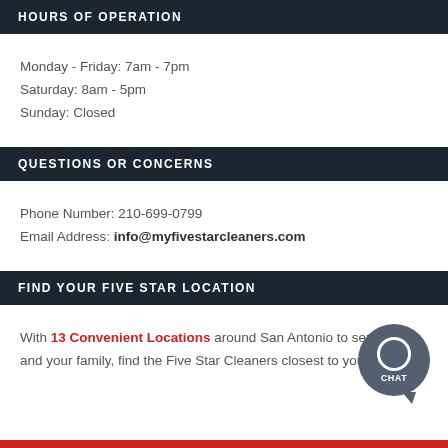HOURS OF OPERATION
Monday - Friday: 7am - 7pm
Saturday: 8am - 5pm
Sunday: Closed
QUESTIONS OR CONCERNS
Phone Number: 210-699-0799
Email Address: info@myfivestarcleaners.com
FIND YOUR FIVE STAR LOCATION
With 13 Convenient Locations around San Antonio to serve you and your family, find the Five Star Cleaners closest to yo...